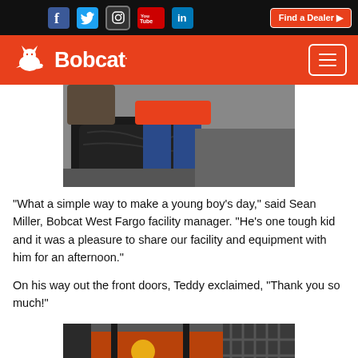Social media icons: Facebook, Twitter, Instagram, YouTube, LinkedIn | Find a Dealer button
[Figure (logo): Bobcat company logo with lynx icon on orange/red header bar, with hamburger menu button]
[Figure (photo): Close-up photo of a child in blue jeans and tan shoes, standing next to a black piece of heavy equipment, wearing an orange shirt]
"What a simple way to make a young boy's day," said Sean Miller, Bobcat West Fargo facility manager. "He's one tough kid and it was a pleasure to share our facility and equipment with him for an afternoon."
On his way out the front doors, Teddy exclaimed, "Thank you so much!"
[Figure (photo): Photo taken from inside a Bobcat machine cab, showing the cab structure and orange equipment visible through the cage/grill]